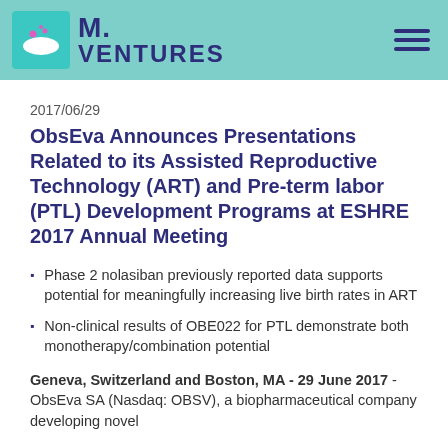[Figure (logo): M. Ventures logo with teal square icon and hamburger menu on teal header bar]
2017/06/29
ObsEva Announces Presentations Related to its Assisted Reproductive Technology (ART) and Pre-term labor (PTL) Development Programs at ESHRE 2017 Annual Meeting
Phase 2 nolasiban previously reported data supports potential for meaningfully increasing live birth rates in ART
Non-clinical results of OBE022 for PTL demonstrate both monotherapy/combination potential
Geneva, Switzerland and Boston, MA - 29 June 2017 - ObsEva SA (Nasdaq: OBSV), a biopharmaceutical...